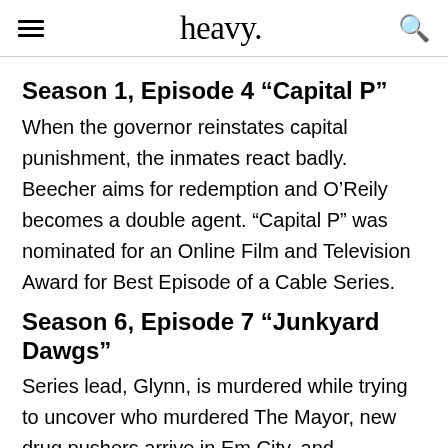heavy.
Season 1, Episode 4 “Capital P”
When the governor reinstates capital punishment, the inmates react badly. Beecher aims for redemption and O’Reily becomes a double agent. “Capital P” was nominated for an Online Film and Television Award for Best Episode of a Cable Series.
Season 6, Episode 7 “Junkyard Dawgs”
Series lead, Glynn, is murdered while trying to uncover who murdered The Mayor, new drug pushers arrive in Em City, and McManus tries to